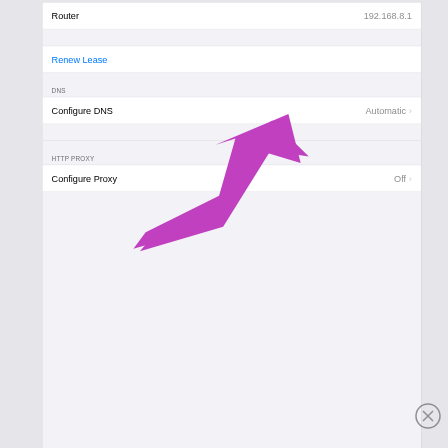[Figure (screenshot): iOS Wi-Fi network settings screen showing Router IP 192.168.8.1, Renew Lease button, DNS section with Configure DNS set to Automatic, HTTP PROXY section with Configure Proxy set to Off. A magenta arrow annotation points to the Configure DNS row.]